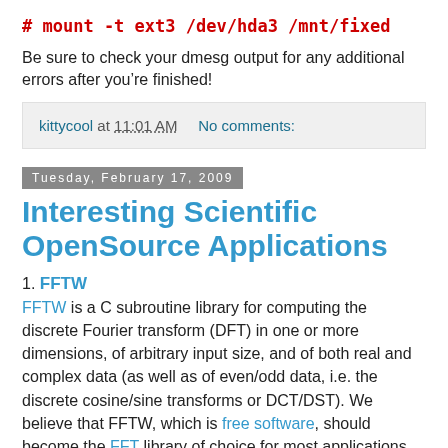# mount -t ext3 /dev/hda3 /mnt/fixed
Be sure to check your dmesg output for any additional errors after you’re finished!
kittycool at 11:01 AM    No comments:
Tuesday, February 17, 2009
Interesting Scientific OpenSource Applications
1. FFTW
FFTW is a C subroutine library for computing the discrete Fourier transform (DFT) in one or more dimensions, of arbitrary input size, and of both real and complex data (as well as of even/odd data, i.e. the discrete cosine/sine transforms or DCT/DST). We believe that FFTW, which is free software, should become the FFT library of choice for most applications.